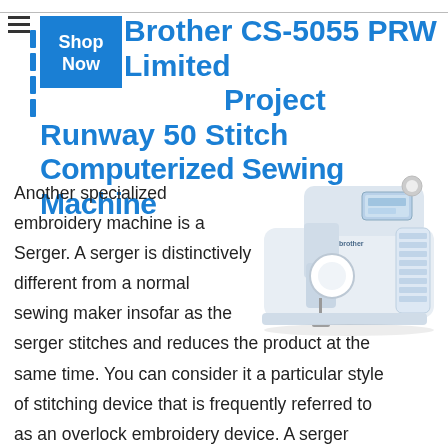Brother CS-5055 PRW Limited Project Runway 50 Stitch Computerized Sewing Machine
[Figure (photo): White Brother CS-5055 PRW computerized sewing machine shown from the front-right angle, with LCD display and stitch selector panel visible on the right side.]
Another specialized embroidery machine is a Serger. A serger is distinctively different from a normal sewing maker insofar as the serger stitches and reduces the product at the same time. You can consider it a particular style of stitching device that is frequently referred to as an overlock embroidery device. A serger